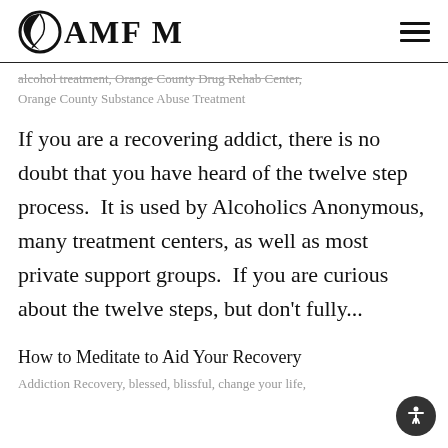OAMFM
alcohol treatment, Orange County Drug Rehab Center,
Orange County Substance Abuse Treatment
If you are a recovering addict, there is no doubt that you have heard of the twelve step process.  It is used by Alcoholics Anonymous, many treatment centers, as well as most private support groups.  If you are curious about the twelve steps, but don't fully...
How to Meditate to Aid Your Recovery
Addiction Recovery, blessed, blissful, change your life,